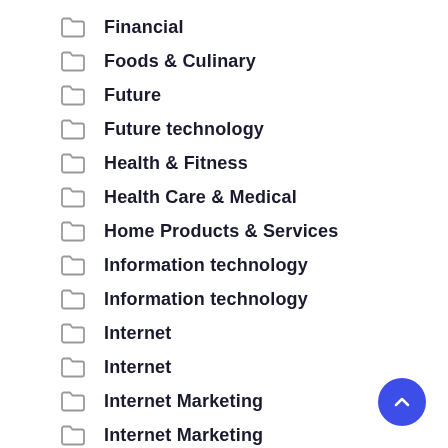Financial
Foods & Culinary
Future
Future technology
Health & Fitness
Health Care & Medical
Home Products & Services
Information technology
Information technology
Internet
Internet
Internet Marketing
Internet Marketing
Internet Services